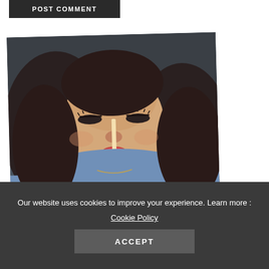POST COMMENT
[Figure (photo): A young woman with dark wavy hair eating a corn dog, wearing a light blue denim shirt. She is leaning in to take a bite. A golden-brown corn dog is visible in the lower left. The image is slightly tilted. Dark background.]
Our website uses cookies to improve your experience. Learn more :
Cookie Policy
ACCEPT